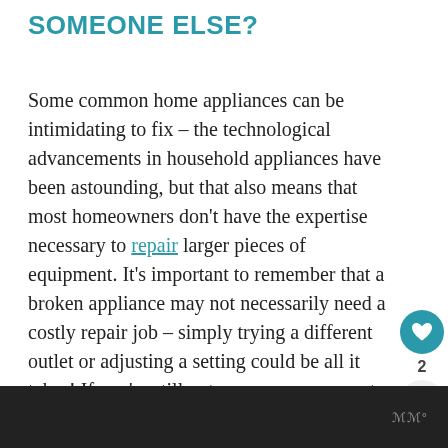SOMEONE ELSE?
Some common home appliances can be intimidating to fix – the technological advancements in household appliances have been astounding, but that also means that most homeowners don't have the expertise necessary to repair larger pieces of equipment. It's important to remember that a broken appliance may not necessarily need a costly repair job – simply trying a different outlet or adjusting a setting could be all it takes! If you're still not sure, you may want to hire a professional.
ℳℳ°